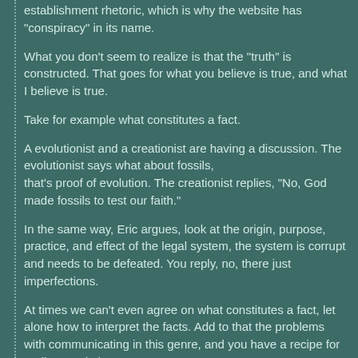establishment rhetoric, which is why the website has "conspiracy" in its name.
What you don't seem to realize is that the "truth" is constructed. That goes for what you believe is true, and what I believe is true.
Take for example what constitutes a fact.
A evolutionist and a creationist are having a discussion. The evolutionist says what about fossils, that's proof of evolution. The creationist replies, "No, God made fossils to test our faith."
In the same way, Eric argues, look at the origin, purpose, practice, and effect of the legal system, the system is corrupt and needs to be defeated. You reply, no, there just imperfections.
At times we can't even agree on what constitutes a fact, let alone how to interpret the facts. Add to that the problems with communicating in this genre, and you have a recipe for endless, pointless arguments.
You wrote "You guys don't appear to value that exercise, which is...curious."